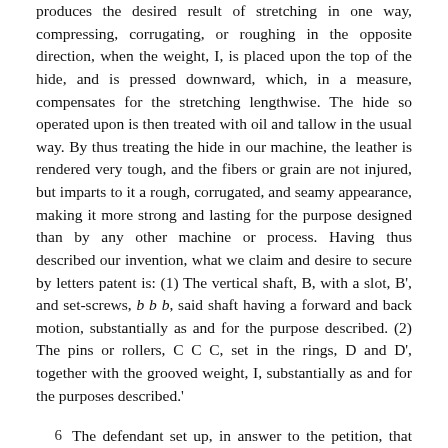produces the desired result of stretching in one way, compressing, corrugating, or roughing in the opposite direction, when the weight, I, is placed upon the top of the hide, and is pressed downward, which, in a measure, compensates for the stretching lengthwise. The hide so operated upon is then treated with oil and tallow in the usual way. By thus treating the hide in our machine, the leather is rendered very tough, and the fibers or grain are not injured, but imparts to it a rough, corrugated, and seamy appearance, making it more strong and lasting for the purpose designed than by any other machine or process. Having thus described our invention, what we claim and desire to secure by letters patent is: (1) The vertical shaft, B, with a slot, B', and set-screws, b b b, said shaft having a forward and back motion, substantially as and for the purpose described. (2) The pins or rollers, C C C, set in the rings, D and D', together with the grooved weight, I, substantially as and for the purposes described.'
6  The defendant set up, in answer to the petition, that the machine was not the joint invention of the patentees; that it was in public use by one of the patentees for more than two years before the patent was applied for; and that it was not new, giving references on the question of novelty. The answer also denied every allegation in the petition. There was a reply, putting in issue the new matter in the answer. The case was tried by a jury. The bill of exceptions shows